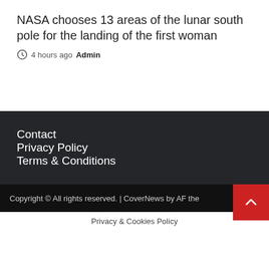NASA chooses 13 areas of the lunar south pole for the landing of the first woman
4 hours ago  Admin
Contact
Privacy Policy
Terms & Conditions
Copyright © All rights reserved. | CoverNews by AF the
Privacy & Cookies Policy